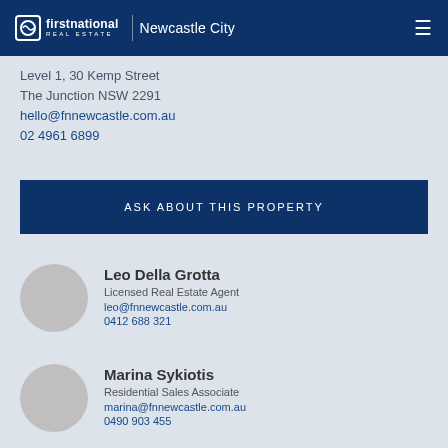first national REAL ESTATE | Newcastle City
Level 1, 30 Kemp Street
The Junction NSW 2291
hello@fnnewcastle.com.au
02 4961 6899
ASK ABOUT THIS PROPERTY
Leo Della Grotta
Licensed Real Estate Agent
leo@fnnewcastle.com.au
0412 688 321
Marina Sykiotis
Residential Sales Associate
marina@fnnewcastle.com.au
0490 903 455